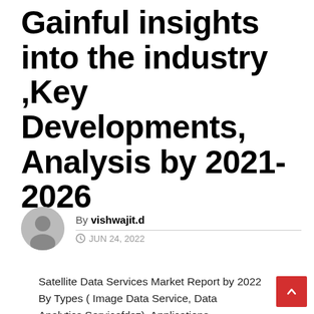Gainful insights into the industry ,Key Developments, Analysis by 2021-2026
By vishwajit.d
JUN 24, 2022
Satellite Data Services Market Report by 2022 By Types ( Image Data Service, Data Analytics Servicefdsz), Applications (Government &